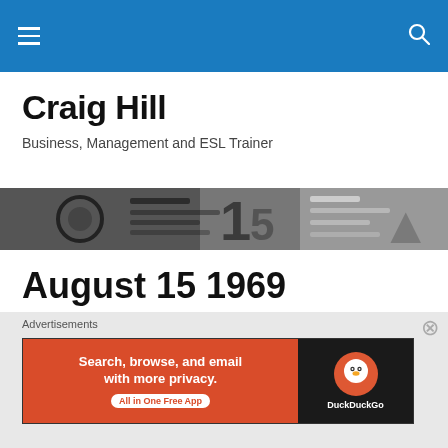Craig Hill — navigation bar with hamburger menu and search icon
Craig Hill
Business, Management and ESL Trainer
[Figure (photo): Black and white close-up photo of papers/documents with text and graphics, used as header banner image]
August 15 1969 Woodstock festival opens in Bethel, New York
Advertisements
[Figure (screenshot): DuckDuckGo advertisement banner: orange/red left section reading 'Search, browse, and email with more privacy. All in One Free App' with a white pill-shaped button, and black right section with DuckDuckGo logo and text]